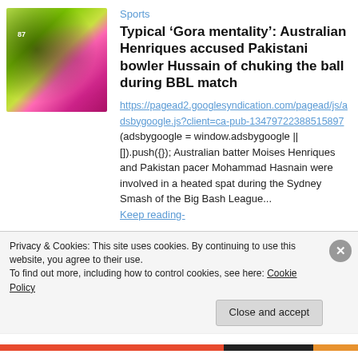[Figure (photo): Two cricket players on field, one in neon yellow-green jersey with number 87, one in pink jersey, dark background]
Sports
Typical ‘Gora mentality’: Australian Henriques accused Pakistani bowler Hussain of chuking the ball during BBL match
https://pagead2.googlesyndication.com/pagead/js/adsbygoogle.js?client=ca-pub-13479722388515897 (adsbygoogle = window.adsbygoogle || []).push({}); Australian batter Moises Henriques and Pakistan pacer Mohammad Hasnain were involved in a heated spat during the Sydney Smash of the Big Bash League...
Keep reading-
Privacy & Cookies: This site uses cookies. By continuing to use this website, you agree to their use.
To find out more, including how to control cookies, see here: Cookie Policy
Close and accept